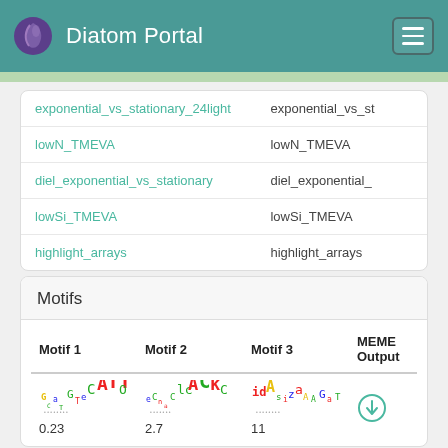Diatom Portal
|  |  |
| --- | --- |
| exponential_vs_stationary_24light | exponential_vs_st |
| lowN_TMEVA | lowN_TMEVA |
| diel_exponential_vs_stationary | diel_exponential_ |
| lowSi_TMEVA | lowSi_TMEVA |
| highlight_arrays | highlight_arrays |
Motifs
| Motif 1 | Motif 2 | Motif 3 | MEME Output |
| --- | --- | --- | --- |
| [sequence logo] 0.23 | [sequence logo] 2.7 | [sequence logo] 11 | [download icon] |